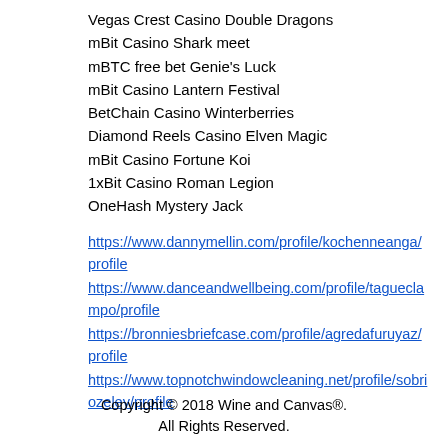Vegas Crest Casino Double Dragons
mBit Casino Shark meet
mBTC free bet Genie's Luck
mBit Casino Lantern Festival
BetChain Casino Winterberries
Diamond Reels Casino Elven Magic
mBit Casino Fortune Koi
1xBit Casino Roman Legion
OneHash Mystery Jack
https://www.dannymellin.com/profile/kochenneanga/profile https://www.danceandwellbeing.com/profile/tagueclampo/profile https://bronniesbriefcase.com/profile/agredafuruyaz/profile https://www.topnotchwindowcleaning.net/profile/sobriozeley/profile
Copyright © 2018 Wine and Canvas®. All Rights Reserved.